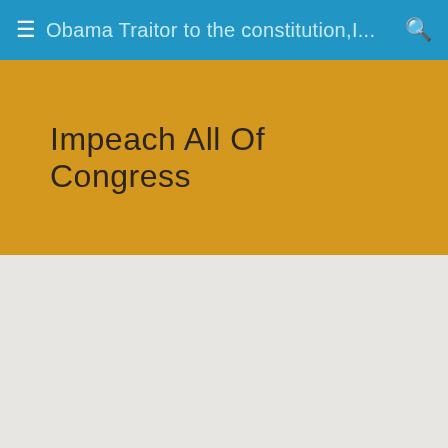Obama Traitor to the constitution,I...
Impeach All Of Congress